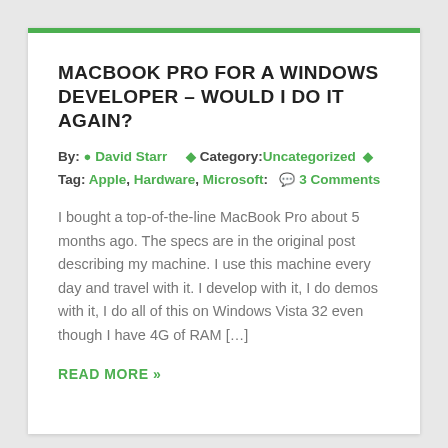MACBOOK PRO FOR A WINDOWS DEVELOPER – WOULD I DO IT AGAIN?
By: David Starr  Category:Uncategorized  Tag: Apple, Hardware, Microsoft:  3 Comments
I bought a top-of-the-line MacBook Pro about 5 months ago. The specs are in the original post describing my machine. I use this machine every day and travel with it. I develop with it, I do demos with it, I do all of this on Windows Vista 32 even though I have 4G of RAM […]
READ MORE »